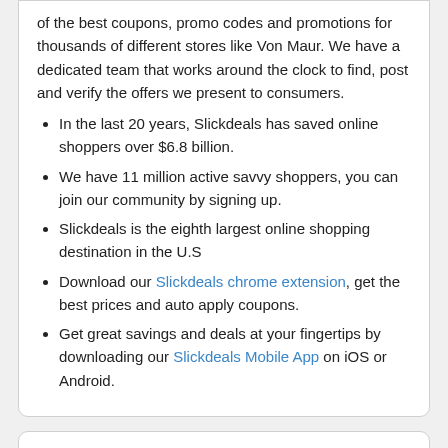of the best coupons, promo codes and promotions for thousands of different stores like Von Maur. We have a dedicated team that works around the clock to find, post and verify the offers we present to consumers.
In the last 20 years, Slickdeals has saved online shoppers over $6.8 billion.
We have 11 million active savvy shoppers, you can join our community by signing up.
Slickdeals is the eighth largest online shopping destination in the U.S
Download our Slickdeals chrome extension, get the best prices and auto apply coupons.
Get great savings and deals at your fingertips by downloading our Slickdeals Mobile App on iOS or Android.
Most Popular Von Maur Promo Codes & Sales
Von Maur Coupons and Promo Codes for